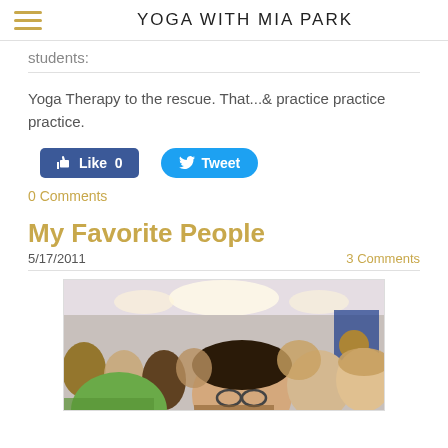YOGA WITH MIA PARK
students:
Yoga Therapy to the rescue. That...& practice practice practice.
[Figure (other): Facebook Like button (blue, count 0) and Twitter Tweet button (blue)]
0 Comments
My Favorite People
5/17/2011
3 Comments
[Figure (photo): Group of people in a crowded indoor room, seen from above/close up, various faces visible]